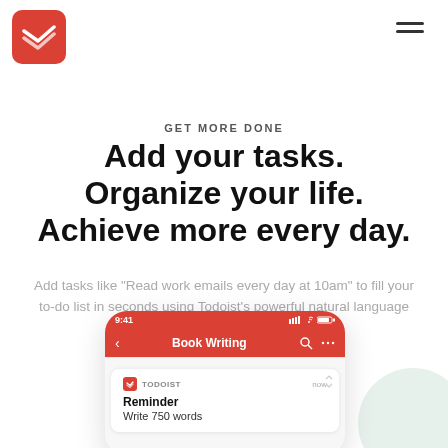[Figure (logo): Todoist red square logo with white checkmark layers in top-left corner]
[Figure (other): Hamburger menu icon (two horizontal lines) in top-right corner]
GET MORE DONE
Add your tasks.
Organize your life.
Achieve more every day.
Add tasks like “Read work emails every day at 10am” to fill your to-do list in seconds using Todoist’s powerful natural language recognition and recurring dates.
[Figure (screenshot): Mobile phone screenshot showing Todoist app. Status bar shows 9:41 time and signal icons. Red navigation bar reads 'Book Writing' with back arrow, search and more icons. Below is a notification card with Todoist logo, 'TODOIST' label, 'now' timestamp, bold 'Reminder' title, and 'Write 750 words' body text.]